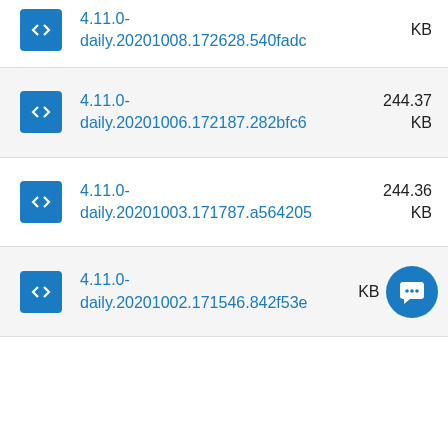4.11.0-daily.20201008.172628.540fadc — KB
4.11.0-daily.20201006.172187.282bfc6 — 244.37 KB
4.11.0-daily.20201003.171787.a564205 — 244.36 KB
4.11.0-daily.20201002.171546.842f53e — KB